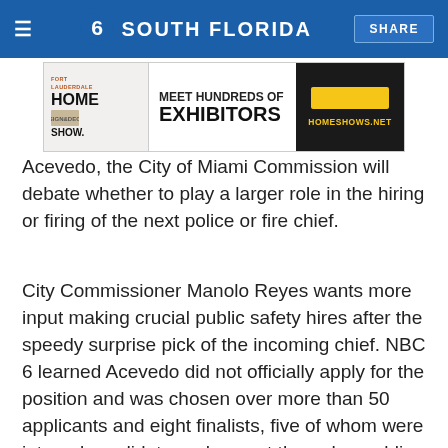NBC 6 South Florida — SHARE
[Figure (other): Fort Lauderdale Home Show advertisement banner: MEET HUNDREDS OF EXHIBITORS — HOMESHOWS.NET]
Acevedo, the City of Miami Commission will debate whether to play a larger role in the hiring or firing of the next police or fire chief.
City Commissioner Manolo Reyes wants more input making crucial public safety hires after the speedy surprise pick of the incoming chief. NBC 6 learned Acevedo did not officially apply for the position and was chosen over more than 50 applicants and eight finalists, five of whom were internal candidates, who went through a public selection process. Click here for the story from NBC 6 investigator Phil Prazan.